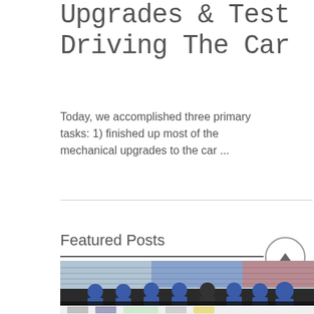Upgrades & Test Driving The Car
Today, we accomplished three primary tasks: 1) finished up most of the mechanical upgrades to the car ...
Featured Posts
[Figure (photo): Group photo of approximately 8 students in blue shirts standing behind a vehicle at a racing stadium venue]